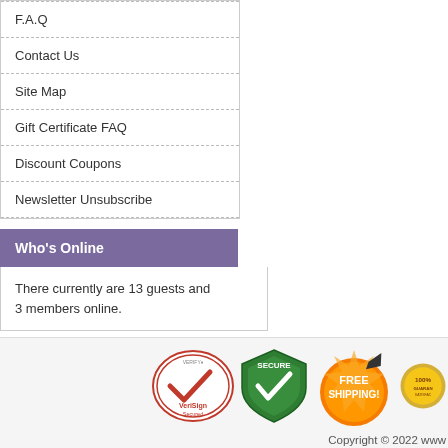F.A.Q
Contact Us
Site Map
Gift Certificate FAQ
Discount Coupons
Newsletter Unsubscribe
Who's Online
There currently are 13 guests and 3 members online.
[Figure (logo): VeriSign Secured badge, Secure green shield badge, Free Shipping orange badge, 100% Guarantee badge]
Copyright © 2022 www